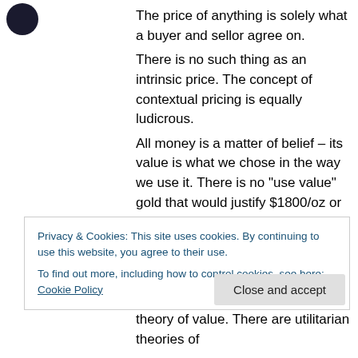[Figure (logo): Dark circular logo in top-left corner]
The price of anything is solely what a buyer and sellor agree on.
There is no such thing as an intrinsic price. The concept of contextual pricing is equally ludicrous.
All money is a matter of belief – its value is what we chose in the way we use it. There is no “use value” gold that would justify $1800/oz or whatever ti is at the moment.
The only means of establishing the price of anything is the marketplace. There have been
Privacy & Cookies: This site uses cookies. By continuing to use this website, you agree to their use.
To find out more, including how to control cookies, see here: Cookie Policy
theory of value. There are utilitarian theories of